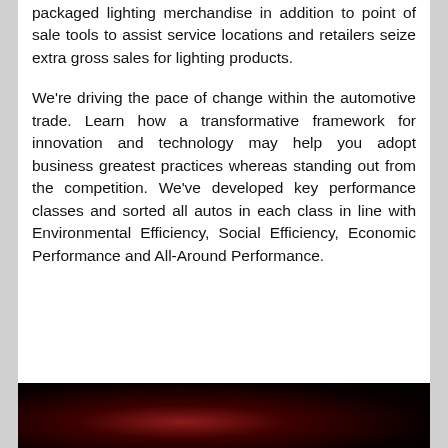packaged lighting merchandise in addition to point of sale tools to assist service locations and retailers seize extra gross sales for lighting products.
We're driving the pace of change within the automotive trade. Learn how a transformative framework for innovation and technology may help you adopt business greatest practices whereas standing out from the competition. We've developed key performance classes and sorted all autos in each class in line with Environmental Efficiency, Social Efficiency, Economic Performance and All-Around Performance.
[Figure (photo): Partial view of a dark photograph, showing reddish and dark tones, appears to be a car interior or automotive scene with very low lighting.]